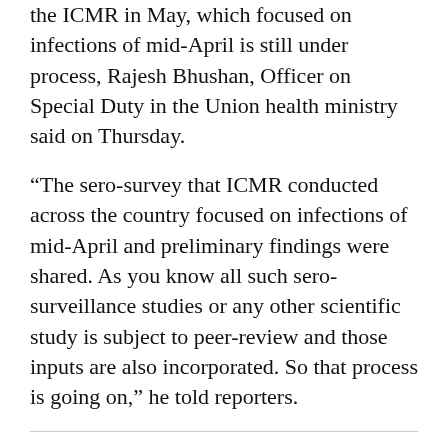the ICMR in May, which focused on infections of mid-April is still under process, Rajesh Bhushan, Officer on Special Duty in the Union health ministry said on Thursday.
“The sero-survey that ICMR conducted across the country focused on infections of mid-April and preliminary findings were shared. As you know all such sero-surveillance studies or any other scientific study is subject to peer-review and those inputs are also incorporated. So that process is going on,” he told reporters.
Also read: Half-Truths and Twisted Data Won’t Help Control COVID-19
“We will be in a position to share it once that gets